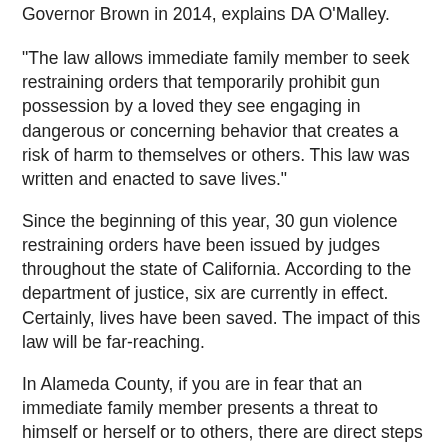Governor Brown in 2014, explains DA O'Malley.
“The law allows immediate family member to seek restraining orders that temporarily prohibit gun possession by a loved they see engaging in dangerous or concerning behavior that creates a risk of harm to themselves or others. This law was written and enacted to save lives.”
Since the beginning of this year, 30 gun violence restraining orders have been issued by judges throughout the state of California. According to the department of justice, six are currently in effect. Certainly, lives have been saved. The impact of this law will be far-reaching.
In Alameda County, if you are in fear that an immediate family member presents a threat to himself or herself or to others, there are direct steps you can take to ensure that he or she is not able to possess or purchase a firearm. You may be saving many lives and preventing untold tragedy.
To obtain a gun violence restraining order, contact your local police department. Legal forms to be filed in court can be